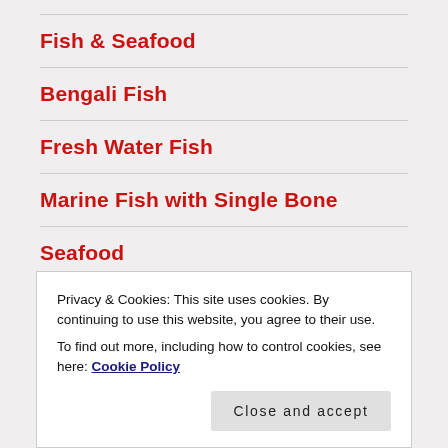Fish & Seafood
Bengali Fish
Fresh Water Fish
Marine Fish with Single Bone
Seafood
Privacy & Cookies: This site uses cookies. By continuing to use this website, you agree to their use. To find out more, including how to control cookies, see here: Cookie Policy
Close and accept